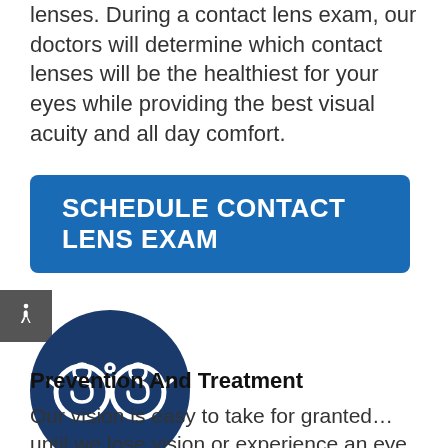lenses. During a contact lens exam, our doctors will determine which contact lenses will be the healthiest for your eyes while providing the best visual acuity and all day comfort.
SCHEDULE CONTACT LENS EXAM
[Figure (illustration): Dark navy blue circle with white line-art icon of eyeglasses/binoculars]
Prevention And Treatment
Our vision is easy to take for granted… until we lose vision or experience an eye related problem. Many diseases and conditions can affect the eyes. At